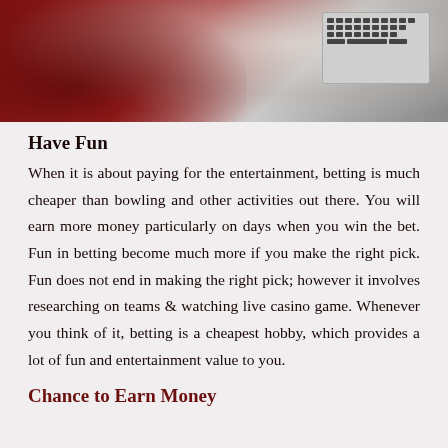[Figure (photo): Photo of a person in a red shirt using a laptop, partial view showing hands on keyboard]
Have Fun
When it is about paying for the entertainment, betting is much cheaper than bowling and other activities out there. You will earn more money particularly on days when you win the bet. Fun in betting become much more if you make the right pick. Fun does not end in making the right pick; however it involves researching on teams & watching live casino game. Whenever you think of it, betting is a cheapest hobby, which provides a lot of fun and entertainment value to you.
Chance to Earn Money